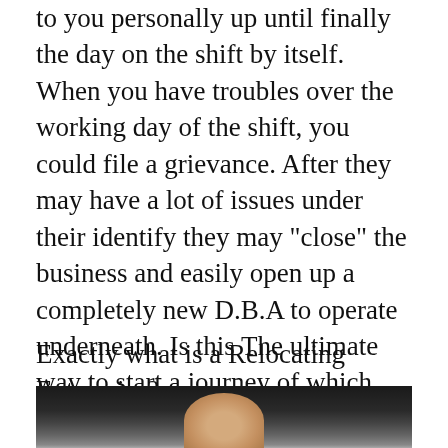to you personally up until finally the day on the shift by itself. When you have troubles over the working day of the shift, you could file a grievance. After they may have a lot of issues under their identify they may "close" the business and easily open up a completely new D.B.A to operate underneath. Is this The ultimate way to start a journey of which that you are depositing your complete home keep products with an organization? Hardly.
Exactly what is a Relocating Enterprise?
[Figure (photo): Photo of a person with light/blonde hair against a dark background, cropped at bottom of page]